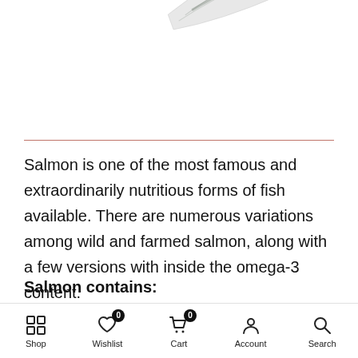[Figure (photo): Fish tail (salmon) visible in the upper right corner of the page on a white background.]
Salmon is one of the most famous and extraordinarily nutritious forms of fish available. There are numerous variations among wild and farmed salmon, along with a few versions with inside the omega-3 content.
Salmon contains:
1.24 g of DHA
Shop  Wishlist 0  Cart 0  Account  Search